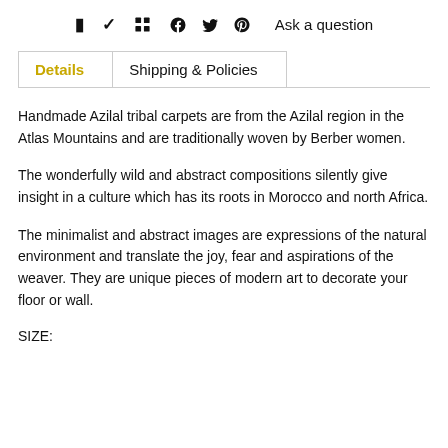f  ♥  ℗  Ask a question
Details  |  Shipping & Policies
Handmade Azilal tribal carpets are from the Azilal region in the Atlas Mountains and are traditionally woven by Berber women.
The wonderfully wild and abstract compositions silently give insight in a culture which has its roots in Morocco and north Africa.
The minimalist and abstract images are expressions of the natural environment and translate the joy, fear and aspirations of the weaver. They are unique pieces of modern art to decorate your floor or wall.
SIZE: